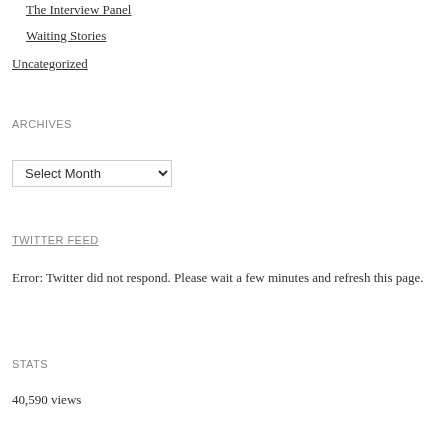The Interview Panel
Waiting Stories
Uncategorized
ARCHIVES
Select Month
TWITTER FEED
Error: Twitter did not respond. Please wait a few minutes and refresh this page.
STATS
40,590 views